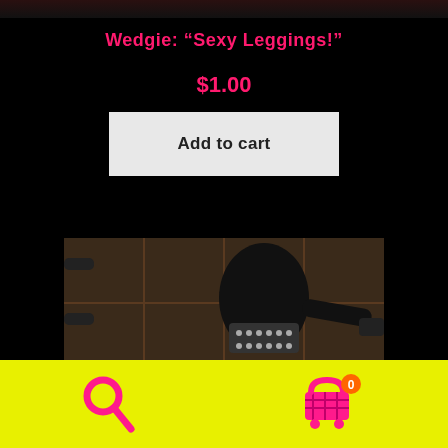[Figure (photo): Partial view of a dark scene at the top of the page]
Wedgie: “Sexy Leggings!”
$1.00
Add to cart
[Figure (photo): Two people in a wrestling or performance scene; one dressed in black leggings/bodysuit with studded belt detail standing over another person crouching]
[Figure (other): Bottom navigation bar with yellow background, pink search icon on the left and pink shopping cart icon with badge showing 0 on the right]